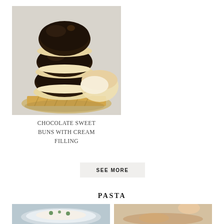[Figure (photo): Stack of chocolate-dipped sweet buns with cream filling on a decorative plate]
CHOCOLATE SWEET BUNS WITH CREAM FILLING
SEE MORE
PASTA
[Figure (photo): Pasta dish, bottom-left thumbnail]
[Figure (photo): Pasta dish, bottom-right thumbnail]